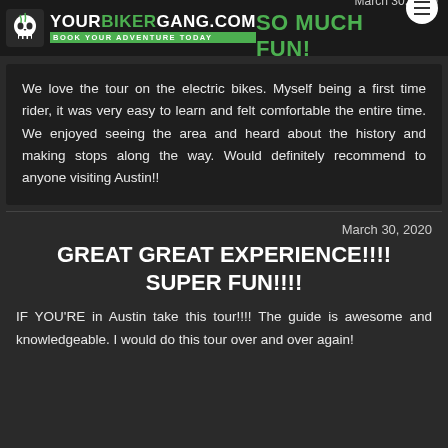YOURBIKERGANG.COM — BOOK YOUR ADVENTURE TODAY | March 30, 2020 | SO MUCH FUN!
We love the tour on the electric bikes. Myself being a first time rider, it was very easy to learn and felt comfortable the entire time. We enjoyed seeing the area and heard about the history and making stops along the way. Would definitely recommend to anyone visiting Austin!!
March 30, 2020
GREAT GREAT EXPERIENCE!!!! SUPER FUN!!!!
IF YOU'RE in Austin take this tour!!!! The guide is awesome and knowledgeable. I would do this tour over and over again!